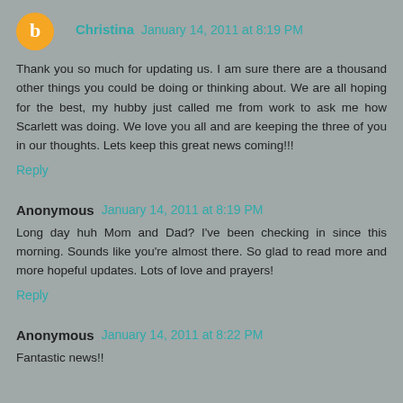Christina  January 14, 2011 at 8:19 PM
Thank you so much for updating us. I am sure there are a thousand other things you could be doing or thinking about. We are all hoping for the best, my hubby just called me from work to ask me how Scarlett was doing. We love you all and are keeping the three of you in our thoughts. Lets keep this great news coming!!!
Reply
Anonymous  January 14, 2011 at 8:19 PM
Long day huh Mom and Dad? I've been checking in since this morning. Sounds like you're almost there. So glad to read more and more hopeful updates. Lots of love and prayers!
Reply
Anonymous  January 14, 2011 at 8:22 PM
Fantastic news!!